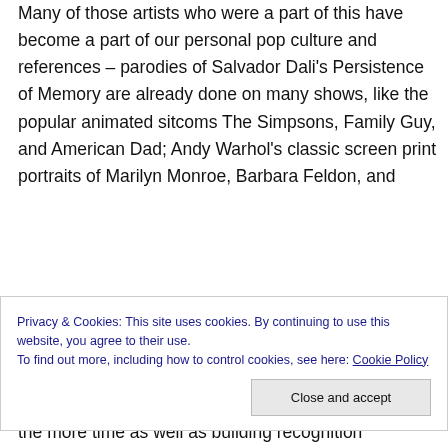Many of those artists who were a part of this have become a part of our personal pop culture and references – parodies of Salvador Dali's Persistence of Memory are already done on many shows, like the popular animated sitcoms The Simpsons, Family Guy, and American Dad; Andy Warhol's classic screen print portraits of Marilyn Monroe, Barbara Feldon, and
Privacy & Cookies: This site uses cookies. By continuing to use this website, you agree to their use.
To find out more, including how to control cookies, see here: Cookie Policy
the more time as well as building recognition